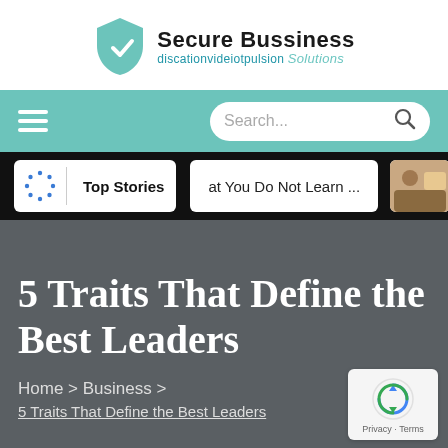[Figure (logo): Secure Bussiness Solutions logo with teal shield icon and company name]
Navigation bar with hamburger menu and search box
Top Stories | at You Do Not Learn ...
5 Traits That Define the Best Leaders
Home > Business > 5 Traits That Define the Best Leaders